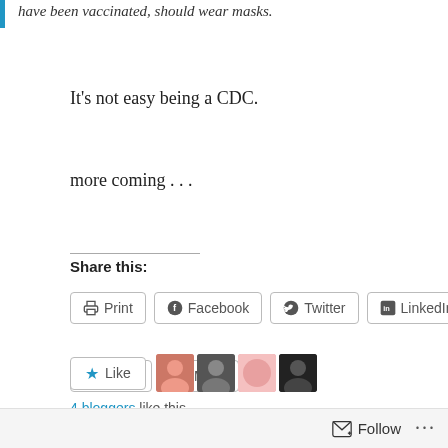have been vaccinated, should wear masks.
It’s not easy being a CDC.
more coming . . .
Share this:
Print | Facebook | Twitter | LinkedIn | Email | More
Like | 4 bloggers like this.
Jim Bowman   Blithe Spirit   1 Comment
08/14/2021   2 Minutes
Follow ...